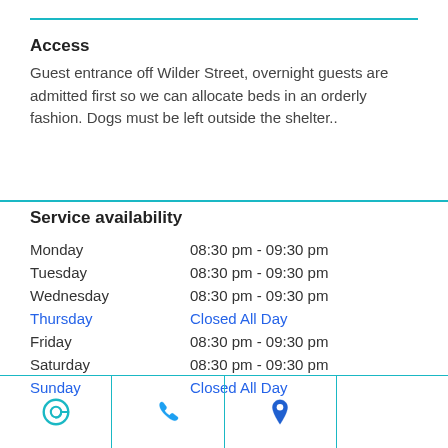Access
Guest entrance off Wilder Street, overnight guests are admitted first so we can allocate beds in an orderly fashion. Dogs must be left outside the shelter..
Service availability
| Day | Hours |
| --- | --- |
| Monday | 08:30 pm - 09:30 pm |
| Tuesday | 08:30 pm - 09:30 pm |
| Wednesday | 08:30 pm - 09:30 pm |
| Thursday | Closed All Day |
| Friday | 08:30 pm - 09:30 pm |
| Saturday | 08:30 pm - 09:30 pm |
| Sunday | Closed All Day |
[Figure (infographic): Footer with three icon cells: email/at symbol, phone, and map pin location icons in teal/blue colors, separated by teal vertical lines on a white background.]